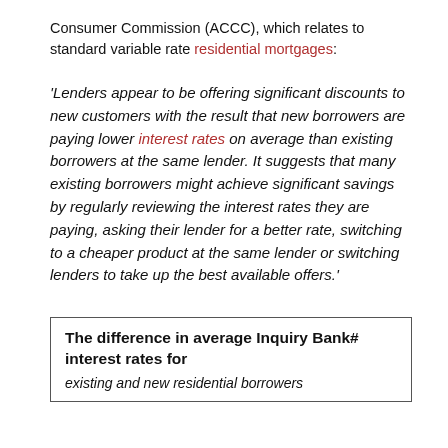Consumer Commission (ACCC), which relates to standard variable rate residential mortgages:
'Lenders appear to be offering significant discounts to new customers with the result that new borrowers are paying lower interest rates on average than existing borrowers at the same lender. It suggests that many existing borrowers might achieve significant savings by regularly reviewing the interest rates they are paying, asking their lender for a better rate, switching to a cheaper product at the same lender or switching lenders to take up the best available offers.'
The difference in average Inquiry Bank# interest rates for